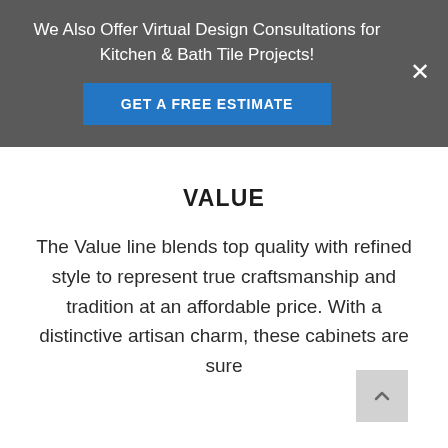We Also Offer Virtual Design Consultations for Kitchen & Bath Tile Projects!
GET A FREE ESTIMATE
VALUE
The Value line blends top quality with refined style to represent true craftsmanship and tradition at an affordable price. With a distinctive artisan charm, these cabinets are sure